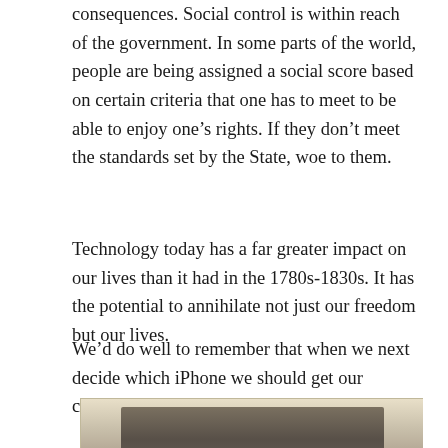consequences. Social control is within reach of the government. In some parts of the world, people are being assigned a social score based on certain criteria that one has to meet to be able to enjoy one’s rights. If they don’t meet the standards set by the State, woe to them.
Technology today has a far greater impact on our lives than it had in the 1780s-1830s. It has the potential to annihilate not just our freedom but our lives.
We’d do well to remember that when we next decide which iPhone we should get our children.
[Figure (photo): A vintage sepia-toned photograph showing a partial view of a person, mostly showing the top of a head, against a dark rectangular background on a light/cream colored surface.]